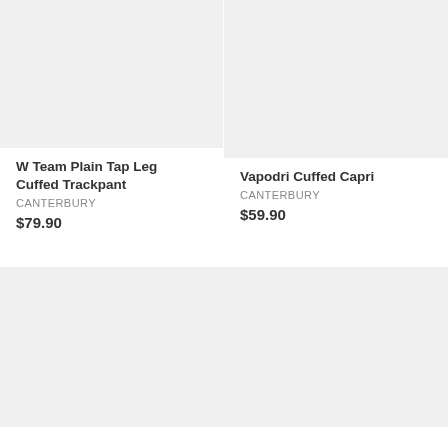[Figure (photo): Product image placeholder for W Team Plain Tap Leg Cuffed Trackpant, light gray background]
W Team Plain Tap Leg Cuffed Trackpant
CANTERBURY
$79.90
[Figure (photo): Product image placeholder for Vapodri Cuffed Capri, light gray background]
Vapodri Cuffed Capri
CANTERBURY
$59.90
[Figure (photo): Product image placeholder bottom-left, light gray background]
[Figure (photo): Product image placeholder bottom-right, light gray background]